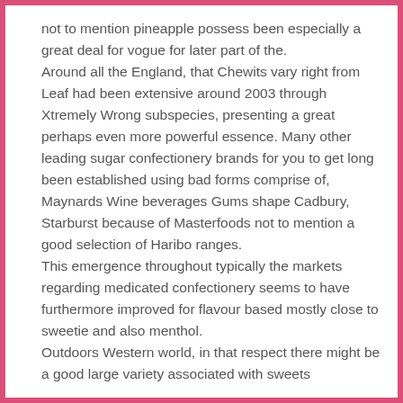not to mention pineapple possess been especially a great deal for vogue for later part of the. Around all the England, that Chewits vary right from Leaf had been extensive around 2003 through Xtremely Wrong subspecies, presenting a great perhaps even more powerful essence. Many other leading sugar confectionery brands for you to get long been established using bad forms comprise of, Maynards Wine beverages Gums shape Cadbury, Starburst because of Masterfoods not to mention a good selection of Haribo ranges. This emergence throughout typically the markets regarding medicated confectionery seems to have furthermore improved for flavour based mostly close to sweetie and also menthol. Outdoors Western world, in that respect there might be a good large variety associated with sweets confectionery ways. Within japan, for